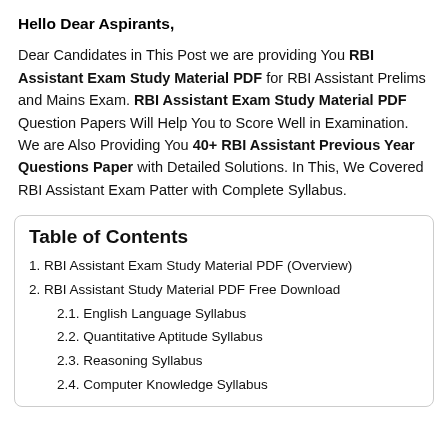Hello Dear Aspirants,
Dear Candidates in This Post we are providing You RBI Assistant Exam Study Material PDF for RBI Assistant Prelims and Mains Exam. RBI Assistant Exam Study Material PDF Question Papers Will Help You to Score Well in Examination. We are Also Providing You 40+ RBI Assistant Previous Year Questions Paper with Detailed Solutions. In This, We Covered RBI Assistant Exam Patter with Complete Syllabus.
Table of Contents
1. RBI Assistant Exam Study Material PDF (Overview)
2. RBI Assistant Study Material PDF Free Download
2.1. English Language Syllabus
2.2. Quantitative Aptitude Syllabus
2.3. Reasoning Syllabus
2.4. Computer Knowledge Syllabus